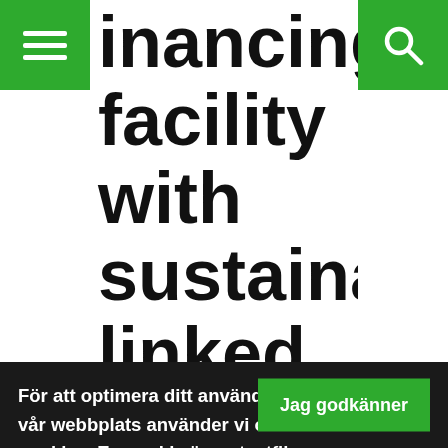[Menu button] [Search button]
inancing facility with sustainability linked
För att optimera ditt användande av vår webbplats använder vi oss av cookies. En cookie är en textfil som sparas på din dator. Om du önskar ytterligare information om vad en cookie är, vilka cookies vi använder, vad syftet med cookien är eller hur du kan blockera eller radera cookies, vänligen läs Om cookies.
Jag godkänner